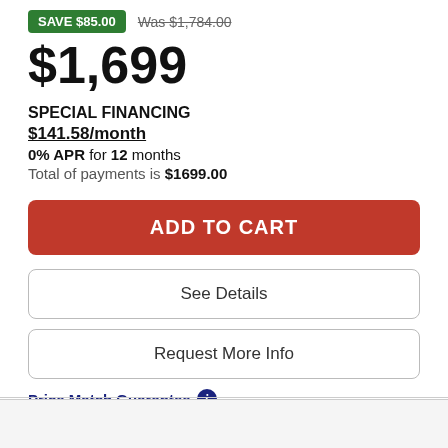SAVE $85.00  Was $1,784.00
$1,699
SPECIAL FINANCING
$141.58/month
0% APR for 12 months
Total of payments is $1699.00
ADD TO CART
See Details
Request More Info
Price Match Guarantee